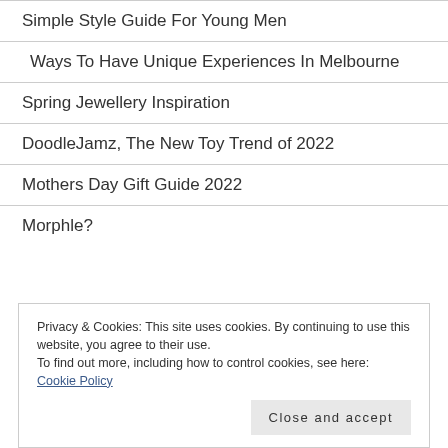Simple Style Guide For Young Men
Ways To Have Unique Experiences In Melbourne
Spring Jewellery Inspiration
DoodleJamz, The New Toy Trend of 2022
Mothers Day Gift Guide 2022
Morphle?
Privacy & Cookies: This site uses cookies. By continuing to use this website, you agree to their use.
To find out more, including how to control cookies, see here: Cookie Policy